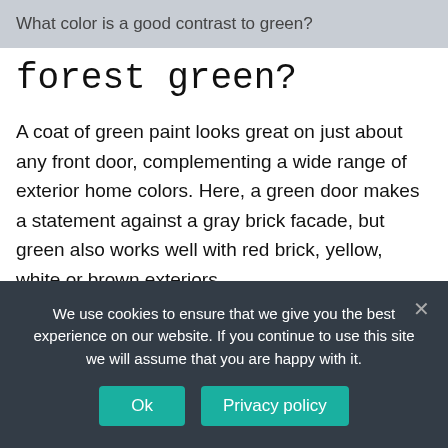What color is a good contrast to green?
forest green?
A coat of green paint looks great on just about any front door, complementing a wide range of exterior home colors. Here, a green door makes a statement against a gray brick facade, but green also works well with red brick, yellow, white or brown exteriors….
What are high contrast colors?
We use cookies to ensure that we give you the best experience on our website. If you continue to use this site we will assume that you are happy with it.